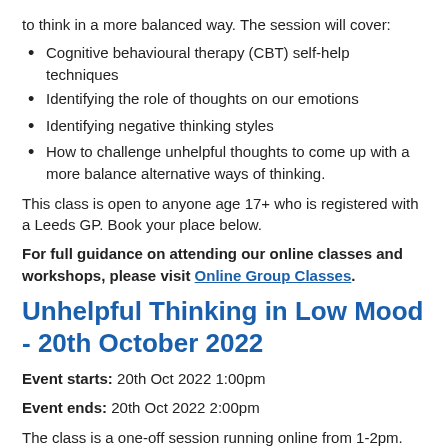to think in a more balanced way. The session will cover:
Cognitive behavioural therapy (CBT) self-help techniques
Identifying the role of thoughts on our emotions
Identifying negative thinking styles
How to challenge unhelpful thoughts to come up with a more balance alternative ways of thinking.
This class is open to anyone age 17+ who is registered with a Leeds GP. Book your place below.
For full guidance on attending our online classes and workshops, please visit Online Group Classes.
Unhelpful Thinking in Low Mood - 20th October 2022
Event starts: 20th Oct 2022 1:00pm
Event ends: 20th Oct 2022 2:00pm
The class is a one-off session running online from 1-2pm.